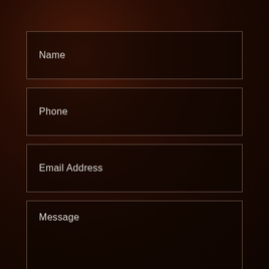Name
Phone
Email Address
Message